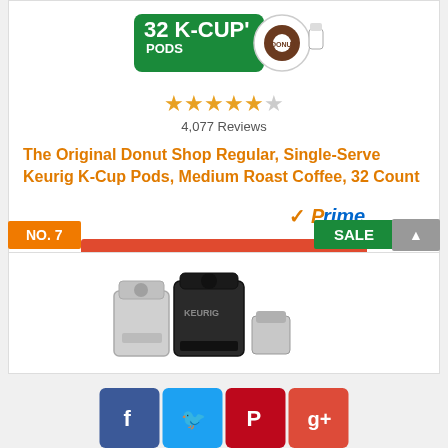[Figure (photo): Product image showing 32 K-Cup Pods package with green background and K-Cup pod beside it]
4,077 Reviews
The Original Donut Shop Regular, Single-Serve Keurig K-Cup Pods, Medium Roast Coffee, 32 Count
[Figure (logo): Amazon Prime checkmark logo with 'Prime' text in orange]
Check The Price on Amazon
NO. 7
SALE
[Figure (photo): Keurig coffee machines product image showing multiple black and silver units]
[Figure (logo): Social sharing buttons: Facebook, Twitter, Pinterest, Google+]